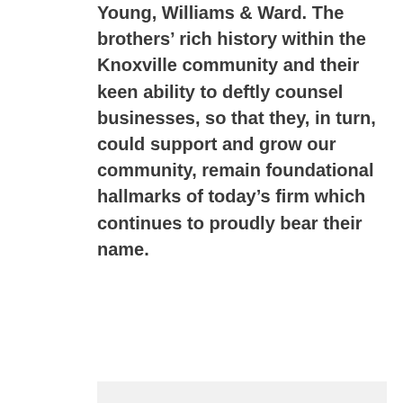Young, Williams & Ward. The brothers' rich history within the Knoxville community and their keen ability to deftly counsel businesses, so that they, in turn, could support and grow our community, remain foundational hallmarks of today's firm which continues to proudly bear their name.
Excerpt from The University of Tennessee Alumnus article, “100 Distinguished Alumni”
Lawyer. Coal company executive. Avid hiker. Dog lover.
That was Lindsay Young, described by the Knoxville News Sentinel as “a generous philanthropist who generally stayed out of the limelight.” Young died in